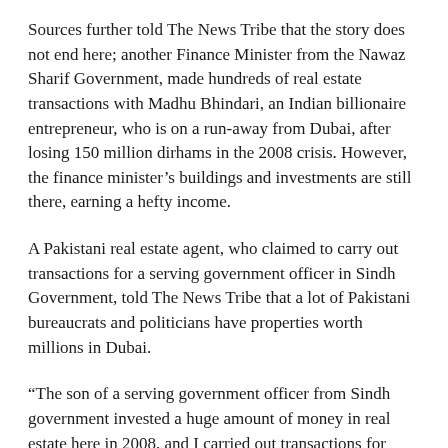Sources further told The News Tribe that the story does not end here; another Finance Minister from the Nawaz Sharif Government, made hundreds of real estate transactions with Madhu Bhindari, an Indian billionaire entrepreneur, who is on a run-away from Dubai, after losing 150 million dirhams in the 2008 crisis. However, the finance minister's buildings and investments are still there, earning a hefty income.
A Pakistani real estate agent, who claimed to carry out transactions for a serving government officer in Sindh Government, told The News Tribe that a lot of Pakistani bureaucrats and politicians have properties worth millions in Dubai.
“The son of a serving government officer from Sindh government invested a huge amount of money in real estate here in 2008, and I carried out transactions for him,” the agent claimed.